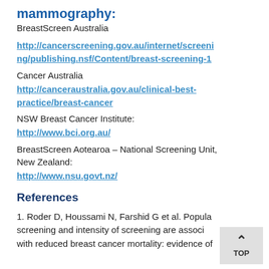mammography:
BreastScreen Australia
http://cancerscreening.gov.au/internet/screening/publishing.nsf/Content/breast-screening-1
Cancer Australia
http://canceraustralia.gov.au/clinical-best-practice/breast-cancer
NSW Breast Cancer Institute:
http://www.bci.org.au/
BreastScreen Aotearoa – National Screening Unit, New Zealand:
http://www.nsu.govt.nz/
References
1. Roder D, Houssami N, Farshid G et al. Population screening and intensity of screening are associated with reduced breast cancer mortality: evidence of